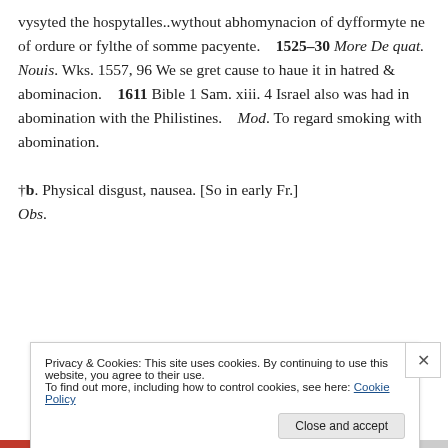vysyted the hospytalles..wythout abhomynacion of dyfformyte ne of ordure or fylthe of somme pacyente.    1525–30 More De quat. Nouis. Wks. 1557, 96 We se gret cause to haue it in hatred & abominacion.    1611 Bible 1 Sam. xiii. 4 Israel also was had in abomination with the Philistines.    Mod. To regard smoking with abomination.
†b. Physical disgust, nausea. [So in early Fr.] Obs.
Privacy & Cookies: This site uses cookies. By continuing to use this website, you agree to their use.
To find out more, including how to control cookies, see here: Cookie Policy